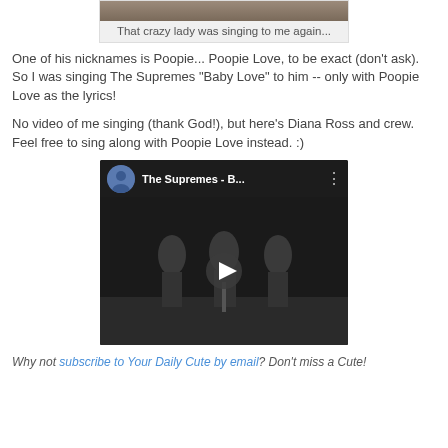[Figure (photo): Image of a cat with a gray/brown coloring at the top of the frame]
That crazy lady was singing to me again...
One of his nicknames is Poopie... Poopie Love, to be exact (don't ask). So I was singing The Supremes "Baby Love" to him -- only with Poopie Love as the lyrics!
No video of me singing (thank God!), but here's Diana Ross and crew. Feel free to sing along with Poopie Love instead. :)
[Figure (screenshot): YouTube video thumbnail showing The Supremes - B... video with three performers on stage in black and white]
Why not subscribe to Your Daily Cute by email? Don't miss a Cute!